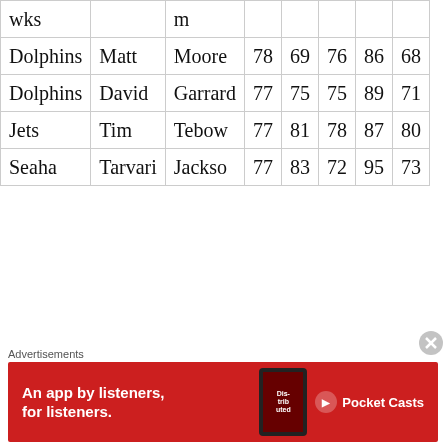| Team | First | Last | Col4 | Col5 | Col6 | Col7 | Col8 |
| --- | --- | --- | --- | --- | --- | --- | --- |
| wks |  | m |  |  |  |  |  |
| Dolphins | Matt | Moore | 78 | 69 | 76 | 86 | 68 |
| Dolphins | David | Garrard | 77 | 75 | 75 | 89 | 71 |
| Jets | Tim | Tebow | 77 | 81 | 78 | 87 | 80 |
| Seaha | Tarvari | Jackso | 77 | 83 | 72 | 95 | 73 |
Advertisements
[Figure (other): Red advertisement banner for Pocket Casts app: 'An app by listeners, for listeners.' with phone image and Pocket Casts logo]